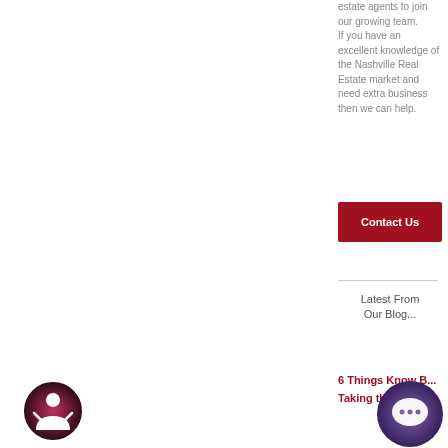estate agents to join our growing team. If you have an excellent knowledge of the Nashville Real Estate market and need extra business then we can help.
[Figure (other): Red Contact Us button]
Latest From Our Blog...
6 Things Know B... Taking the
[Figure (other): Accessibility icon - person in circle with dark gradient border]
[Figure (other): Chat bubble icon - circular blue/purple chat icon]